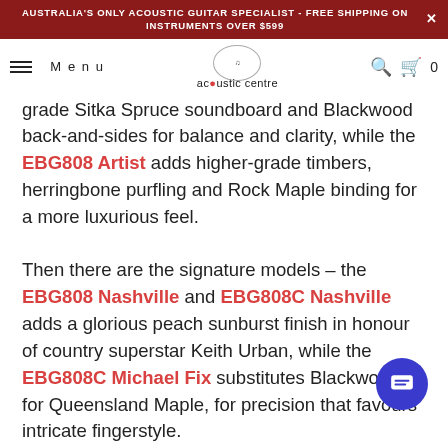AUSTRALIA'S ONLY ACOUSTIC GUITAR SPECIALIST - FREE SHIPPING ON INSTRUMENTS OVER $599
Menu | acoustic centre | 0
grade Sitka Spruce soundboard and Blackwood back-and-sides for balance and clarity, while the EBG808 Artist adds higher-grade timbers, herringbone purfling and Rock Maple binding for a more luxurious feel.

Then there are the signature models – the EBG808 Nashville and EBG808C Nashville adds a glorious peach sunburst finish in honour of country superstar Keith Urban, while the EBG808C Michael Fix substitutes Blackwood for Queensland Maple, for precision that favours intricate fingerstyle.
The Australian Series